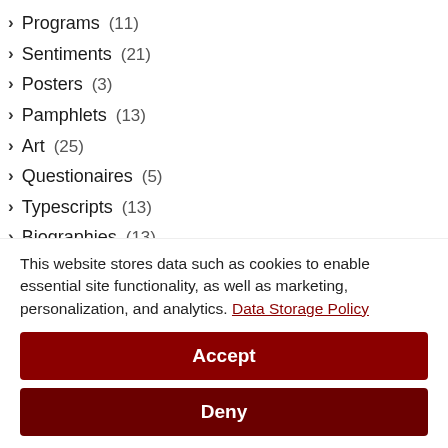Programs (11)
Sentiments (21)
Posters (3)
Pamphlets (13)
Art (25)
Questionaires (5)
Typescripts (13)
Biographies (13)
Magazine Covers (7)
Lithographs (1)
Golf Balls (1)
Show Bills (1)
Hand/Foot Prints/Sketchs (39)
This website stores data such as cookies to enable essential site functionality, as well as marketing, personalization, and analytics. Data Storage Policy
Accept
Deny